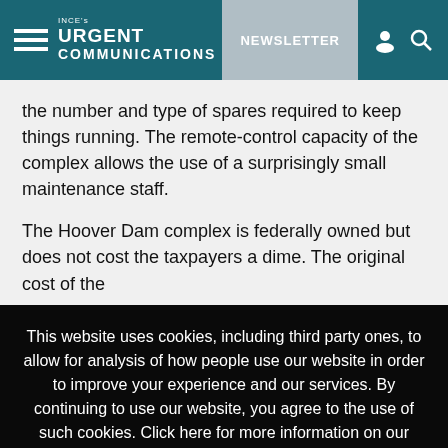INCE's URGENT COMMUNICATIONS — NEWSLETTER
the number and type of spares required to keep things running. The remote-control capacity of the complex allows the use of a surprisingly small maintenance staff.
The Hoover Dam complex is federally owned but does not cost the taxpayers a dime. The original cost of the
This website uses cookies, including third party ones, to allow for analysis of how people use our website in order to improve your experience and our services. By continuing to use our website, you agree to the use of such cookies. Click here for more information on our Cookie Policy and Privacy Policy.
Accept and Close ✕
Your browser settings do not allow cross-site tracking for advertising. Click on this page to allow AdRoll to use cross-site tracking to tailor ads to you. Learn more or opt out of this AdRoll tracking by clicking here. This message only appears once.